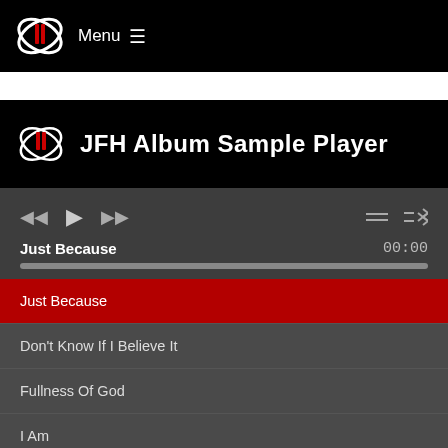Menu ≡
[Figure (screenshot): JFH Album Sample Player — music player interface with black header showing JFH logo and title, transport controls (rewind, play, fast-forward, loop, shuffle), current track 'Just Because' at 00:00, progress bar, and playlist with tracks: Just Because (active/red), Don't Know If I Believe It, Fullness Of God, I Am, Remember What It Cost]
Just Because
Don't Know If I Believe It
Fullness Of God
I Am
Remember What It Cost